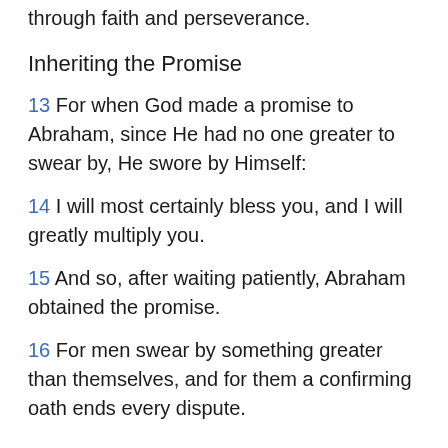through faith and perseverance.
Inheriting the Promise
13 For when God made a promise to Abraham, since He had no one greater to swear by, He swore by Himself:
14 I will most certainly bless you, and I will greatly multiply you.
15 And so, after waiting patiently, Abraham obtained the promise.
16 For men swear by something greater than themselves, and for them a confirming oath ends every dispute.